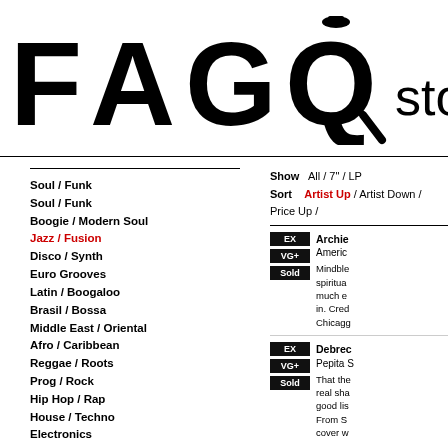[Figure (logo): FAGQ store logo — large bold FAGQ letters with a magnifying glass motif on the Q, followed by 'store' in lighter weight]
Soul / Funk
Boogie / Modern Soul
Jazz / Fusion
Disco / Synth
Euro Grooves
Latin / Boogaloo
Brasil / Bossa
Middle East / Oriental
Afro / Caribbean
Reggae / Roots
Prog / Rock
Hip Hop / Rap
House / Techno
Electronics
Library
Soundtracks
Out Of Stock
Show   All / 7" / LP
Sort   Artist Up / Artist Down / Price Up /
EX VG+ Sold — Archie ... America ... Mindblowing spiritual ... much e... in. Cred... Chicag...
EX VG+ Sold — Debrec... Pepita S... That the... real sha... good lis... From S... cover w...